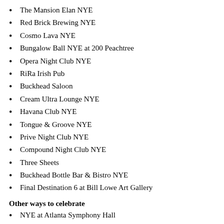The Mansion Elan NYE
Red Brick Brewing NYE
Cosmo Lava NYE
Bungalow Ball NYE at 200 Peachtree
Opera Night Club NYE
RiRa Irish Pub
Buckhead Saloon
Cream Ultra Lounge NYE
Havana Club NYE
Tongue & Groove NYE
Prive Night Club NYE
Compound Night Club NYE
Three Sheets
Buckhead Bottle Bar & Bistro NYE
Final Destination 6 at Bill Lowe Art Gallery
Other ways to celebrate
NYE at Atlanta Symphony Hall
Watching NYE celebrations from the warmth of your home
Entertaining with friends/family at your place